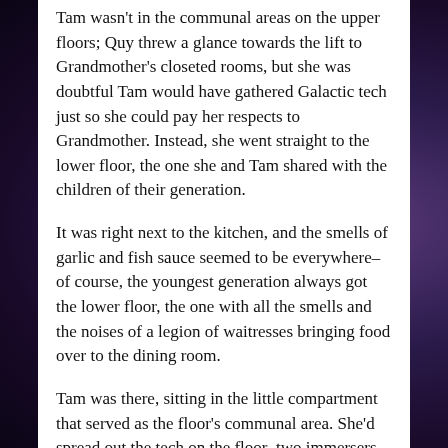Tam wasn't in the communal areas on the upper floors; Quy threw a glance towards the lift to Grandmother's closeted rooms, but she was doubtful Tam would have gathered Galactic tech just so she could pay her respects to Grandmother. Instead, she went straight to the lower floor, the one she and Tam shared with the children of their generation.
It was right next to the kitchen, and the smells of garlic and fish sauce seemed to be everywhere–of course, the youngest generation always got the lower floor, the one with all the smells and the noises of a legion of waitresses bringing food over to the dining room.
Tam was there, sitting in the little compartment that served as the floor's communal area. She'd spread out the tech on the floor–two immersers